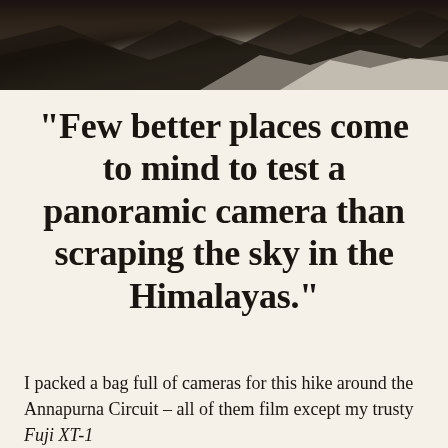[Figure (photo): Mountain landscape photo strip showing dark rocky ridges and snow-covered peaks, likely in the Himalayas. The image is cropped at the top of the page showing high-altitude terrain.]
“Few better places come to mind to test a panoramic camera than scraping the sky in the Himalayas.”
I packed a bag full of cameras for this hike around the Annapurna Circuit – all of them film except my trusty Fuji XT-1